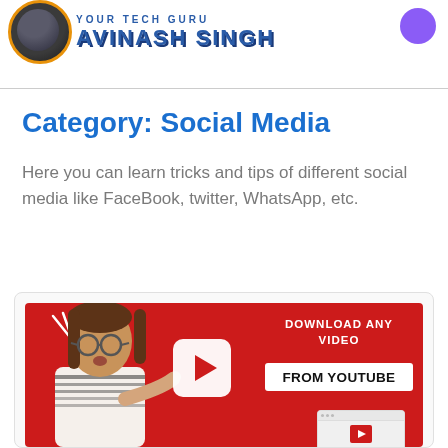YOUR TECH GURU AVINASH SINGH
Category: Social Media
Here you can learn tricks and tips of different social media like FaceBook, twitter, WhatsApp, etc.
[Figure (photo): Promotional thumbnail image with red background showing a surprised woman with glasses pointing at a YouTube play button logo, with text 'DOWNLOAD ANY VIDEO FROM YOUTUBE']